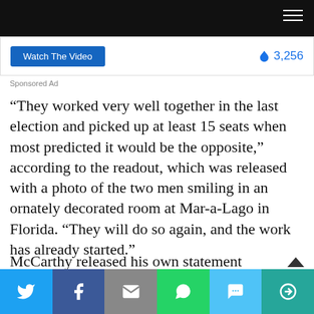[Figure (screenshot): Top black navigation bar with hamburger menu icon]
[Figure (screenshot): Ad banner with blue 'Watch The Video' button and fire icon with count 3,256]
Sponsored Ad
“They worked very well together in the last election and picked up at least 15 seats when most predicted it would be the opposite,” according to the readout, which was released with a photo of the two men smiling in an ornately decorated room at Mar-a-Lago in Florida. “They will do so again, and the work has already started.”
McCarthy released his own statement confirming Trump’s account of the meeting, saying the former
[Figure (screenshot): Social share bar with Twitter, Facebook, Email, WhatsApp, SMS, and More buttons]